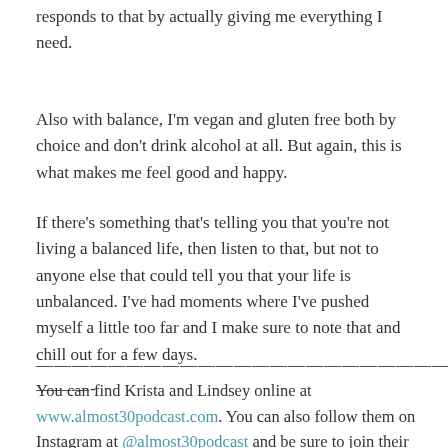responds to that by actually giving me everything I need.
Also with balance, I'm vegan and gluten free both by choice and don't drink alcohol at all. But again, this is what makes me feel good and happy.
If there's something that's telling you that you're not living a balanced life, then listen to that, but not to anyone else that could tell you that your life is unbalanced. I've had moments where I've pushed myself a little too far and I make sure to note that and chill out for a few days.
———————————————————————————————————————-
You can find Krista and Lindsey online at www.almost30podcast.com. You can also follow them on Instagram at @almost30podcast and be sure to join their secret Facebook group where all the good stuff goes down here.